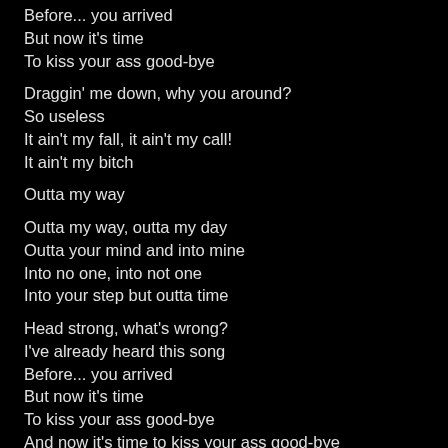Before... you arrived
But now it's time
To kiss your ass good-bye

Draggin' me down, why you around?
So useless
It ain't my fall, it ain't my call!
It ain't my bitch

Outta my way

Outta my way, outta my day
Outta your mind and into mine
Into no one, into not one
Into your step but outta time

Head strong, what's wrong?
I've already heard this song
Before... you arrived
But now it's time
To kiss your ass good-bye
And now it's time to kiss your ass good-bye

Draggin' me down, why you around?
So useless
It ain't my fall, it ain't my call!